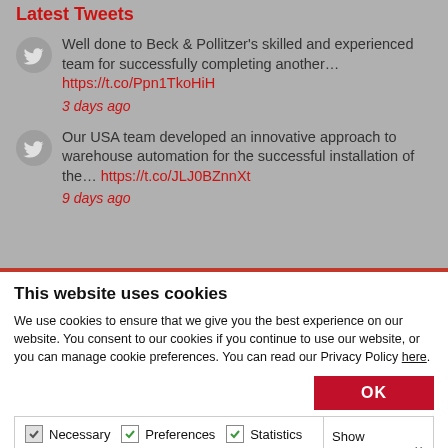Latest Tweets
Well done to Beck & Pollitzer's skilled and experienced team for successfully completing another… https://t.co/Ppn1TkoHiH
3 days ago
Our USA team developed an innovative approach to warehouse automation for the successful installation of the… https://t.co/JLJ0BZnnXt
9 days ago
This website uses cookies
We use cookies to ensure that we give you the best experience on our website. You consent to our cookies if you continue to use our website, or you can manage cookie preferences. You can read our Privacy Policy here.
OK
Necessary  Preferences  Statistics  Marketing  Show details